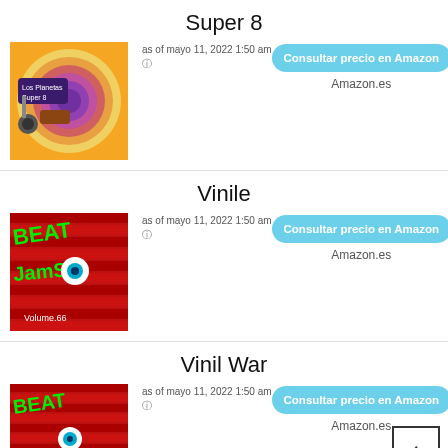Super 8
[Figure (photo): Album cover for Super 8 by Los Planetas - colorful circular design with orange/red/pink concentric rings and illustrated instruments]
as of mayo 11, 2022 1:50 am
Consultar precio en Amazon
Amazon.es
Vinile
[Figure (photo): Album cover Beat Jams Volume.66 - red brick wall with green graffiti text and eye graphic]
as of mayo 11, 2022 1:50 am
Consultar precio en Amazon
Amazon.es
Vinil War
[Figure (photo): Album cover showing red brick wall with graffiti text BEAT and eye graphic]
as of mayo 11, 2022 1:50 am
Consultar precio en Amazon
Amazon.es